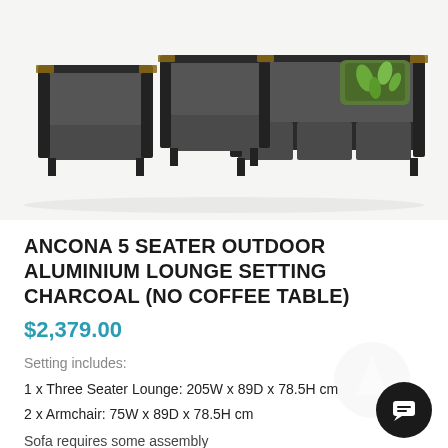[Figure (photo): Outdoor lounge setting showing two armchairs and a three-seater sofa with dark charcoal cushions and black aluminium frames with timber armrest accents, on a white background. A green tropical print cushion is on the sofa.]
ANCONA 5 SEATER OUTDOOR ALUMINIUM LOUNGE SETTING CHARCOAL (NO COFFEE TABLE)
$2,379.00
Setting includes:
1 x Three Seater Lounge: 205W x 89D x 78.5H cm
2 x Armchair: 75W x 89D x 78.5H cm
Sofa requires some assembly